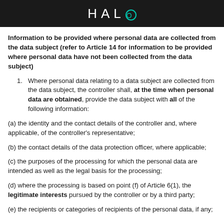HALO
Information to be provided where personal data are collected from the data subject (refer to Article 14 for information to be provided where personal data have not been collected from the data subject)
1. Where personal data relating to a data subject are collected from the data subject, the controller shall, at the time when personal data are obtained, provide the data subject with all of the following information:
(a) the identity and the contact details of the controller and, where applicable, of the controller’s representative;
(b) the contact details of the data protection officer, where applicable;
(c) the purposes of the processing for which the personal data are intended as well as the legal basis for the processing;
(d) where the processing is based on point (f) of Article 6(1), the legitimate interests pursued by the controller or by a third party;
(e) the recipients or categories of recipients of the personal data, if any;